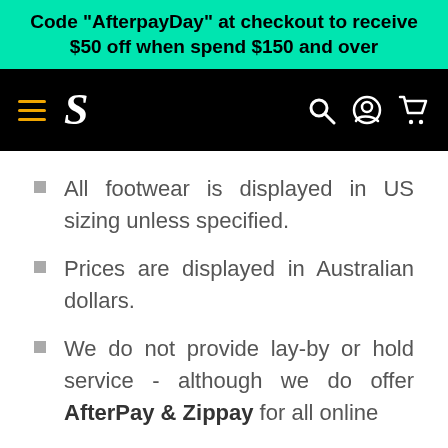Code "AfterPayDay" at checkout to receive $50 off when spend $150 and over
[Figure (screenshot): Black navigation bar with hamburger menu (orange lines), stylized S logo in white, and search, account, cart icons on the right]
All footwear is displayed in US sizing unless specified.
Prices are displayed in Australian dollars.
We do not provide lay-by or hold service - although we do offer AfterPay & Zippay for all online purchases.